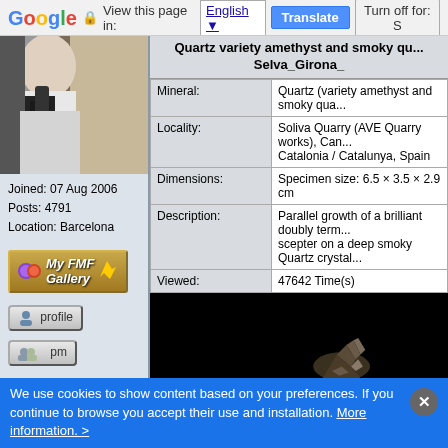Google  View this page in: English ▼  Translate  Turn off for: S
[Figure (photo): User avatar photo showing person holding something, dark gloves visible]
Joined: 07 Aug 2006
Posts: 4791
Location: Barcelona
[Figure (other): My FMF Gallery button with gem icons]
[Figure (other): profile button]
[Figure (other): pm button]
| Mineral: | Quartz (variety amethyst and smoky qua... |
| Locality: | Soliva Quarry (AVE Quarry works), Can...
Catalonia / Catalunya, Spain |
| Dimensions: | Specimen size: 6.5 × 3.5 × 2.9 cm |
| Description: | Parallel growth of a brilliant doubly term...
scepter on a deep smoky Quartz crystal... |
| Viewed: | 47642 Time(s) |
[Figure (photo): Dark photo of quartz mineral specimen, mostly black with mineral visible in lower right corner]
We use cookies to show content based on your preferences. If you continue to browse you accept their use and installation. More information. >